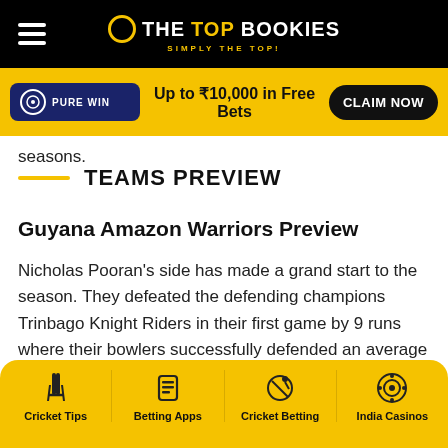THE TOP BOOKIES — SIMPLY THE TOP!
[Figure (infographic): Pure Win advertisement banner: Up to ₹10,000 in Free Bets — CLAIM NOW]
seasons.
TEAMS PREVIEW
Guyana Amazon Warriors Preview
Nicholas Pooran's side has made a grand start to the season. They defeated the defending champions Trinbago Knight Riders in their first game by 9 runs where their bowlers successfully defended an average total. This win against the strongest team would add to the side's
Cricket Tips | Betting Apps | Cricket Betting | India Casinos